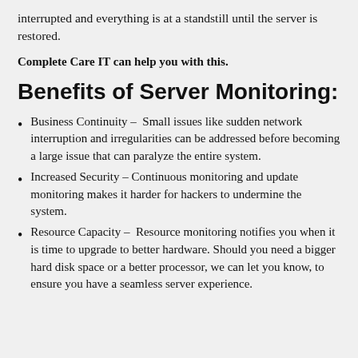interrupted and everything is at a standstill until the server is restored.
Complete Care IT can help you with this.
Benefits of Server Monitoring:
Business Continuity – Small issues like sudden network interruption and irregularities can be addressed before becoming a large issue that can paralyze the entire system.
Increased Security – Continuous monitoring and update monitoring makes it harder for hackers to undermine the system.
Resource Capacity – Resource monitoring notifies you when it is time to upgrade to better hardware. Should you need a bigger hard disk space or a better processor, we can let you know, to ensure you have a seamless server experience.